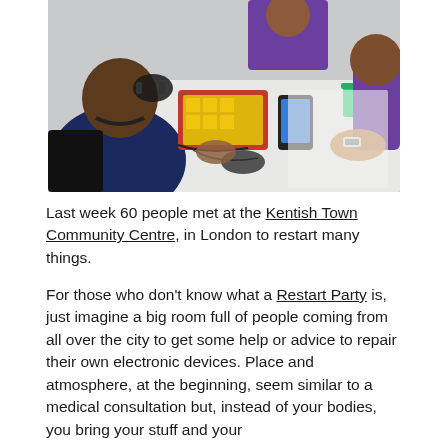[Figure (photo): People gathered around a white table at a repair event, working on electronic devices including a red toolkit, headphones, and a phone. Multiple hands visible handling small components.]
Last week 60 people met at the Kentish Town Community Centre, in London to restart many things.
For those who don't know what a Restart Party is, just imagine a big room full of people coming from all over the city to get some help or advice to repair their own electronic devices. Place and atmosphere, at the beginning, seem similar to a medical consultation but, instead of your bodies, you bring your stuff and your